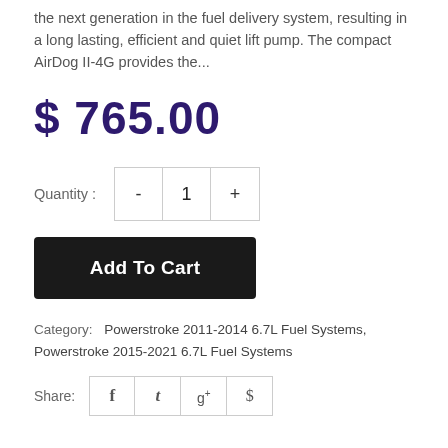the next generation in the fuel delivery system, resulting in a long lasting, efficient and quiet lift pump. The compact AirDog II-4G provides the...
$ 765.00
Quantity : - 1 +
Add To Cart
Category: Powerstroke 2011-2014 6.7L Fuel Systems, Powerstroke 2015-2021 6.7L Fuel Systems
Share: f  t  g+  p